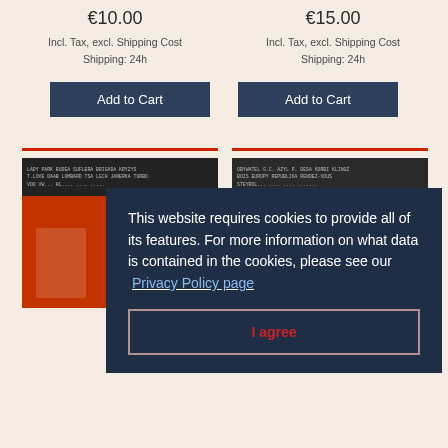€10.00
Incl. Tax, excl. Shipping Cost
Shipping: 24h
Add to Cart
€15.00
Incl. Tax, excl. Shipping Cost
Shipping: 24h
Add to Cart
[Figure (photo): Album cover with dark background and red/orange color lower area with text listing band names]
[Figure (photo): Album cover with dark background and text listing band/artist names]
CD
CD
This website requires cookies to provide all of its features. For more information on what data is contained in the cookies, please see our Privacy Policy page
I agree